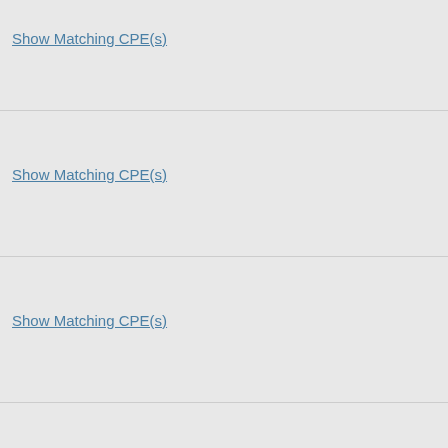Show Matching CPE(s)
Show Matching CPE(s)
Show Matching CPE(s)
Show Matching CPE(s)
Show Matching CPE(s)
Show Matching CPE(s)